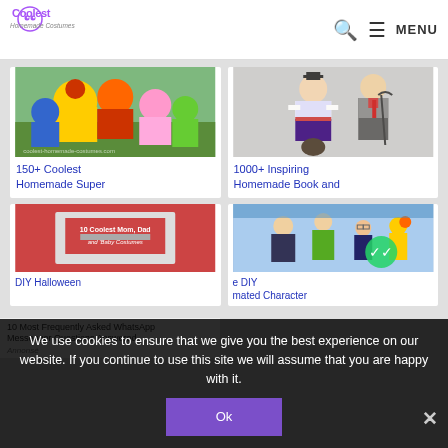[Figure (logo): Coolest Homemade Costumes logo — colorful swirly text]
[Figure (photo): Group of people in Super Mario Bros homemade costumes outdoors]
150+ Coolest Homemade Super
[Figure (photo): Two people dressed as Mary Poppins characters]
1000+ Inspiring Homemade Book and
[Figure (photo): Mom, Dad and Baby costumes photo collage]
DIY Halloween
[Figure (photo): Family in animated character costumes]
e DIY mated Character
10 Most Frequently Asked WhatsApp Messenger Questions Answered
Annonsé
We use cookies to ensure that we give you the best experience on our website. If you continue to use this site we will assume that you are happy with it.